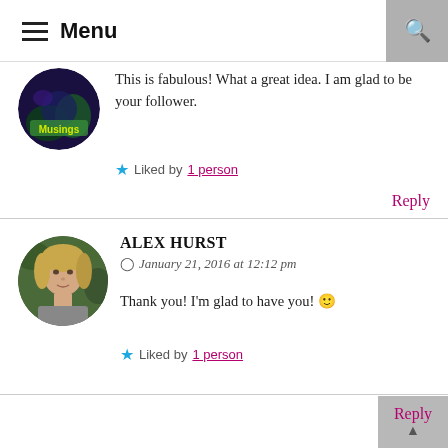Menu
[Figure (photo): Circular avatar with dark purple/green gradient background and 'Musings' label]
This is fabulous! What a great idea. I am glad to be your follower.
★ Liked by 1 person
Reply
ALEX HURST
January 21, 2016 at 12:12 pm
[Figure (photo): Circular avatar photo of Alex Hurst, a woman with blonde hair against green foliage background]
Thank you! I'm glad to have you! 🙂
★ Liked by 1 person
Reply